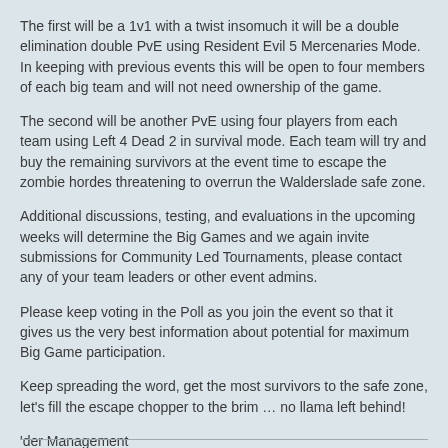The first will be a 1v1 with a twist insomuch it will be a double elimination double PvE using Resident Evil 5 Mercenaries Mode. In keeping with previous events this will be open to four members of each big team and will not need ownership of the game.
The second will be another PvE using four players from each team using Left 4 Dead 2 in survival mode. Each team will try and buy the remaining survivors at the event time to escape the zombie hordes threatening to overrun the Walderslade safe zone.
Additional discussions, testing, and evaluations in the upcoming weeks will determine the Big Games and we again invite submissions for Community Led Tournaments, please contact any of your team leaders or other event admins.
Please keep voting in the Poll as you join the event so that it gives us the very best information about potential for maximum Big Game participation.
Keep spreading the word, get the most survivors to the safe zone, let's fill the escape chopper to the brim … no llama left behind!
'der Management